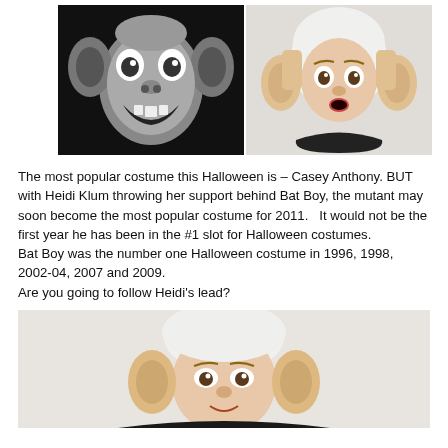[Figure (photo): Two side-by-side photos: left is a black-and-white photo of Bat Boy (a screaming mutant creature with large ears and teeth), right is a color photo of Heidi Klum dressed as Bat Boy wearing a white cap and large prosthetic ears, looking surprised.]
The most popular costume this Halloween is – Casey Anthony. BUT with Heidi Klum throwing her support behind Bat Boy, the mutant may soon become the most popular costume for 2011.   It would not be the first year he has been in the #1 slot for Halloween costumes.
Bat Boy was the number one Halloween costume in 1996, 1998, 2002-04, 2007 and 2009.
Are you going to follow Heidi's lead?
[Figure (photo): A photo of Heidi Klum dressed as Bat Boy, wearing a white cap and large prosthetic ears, looking forward against a light background.]